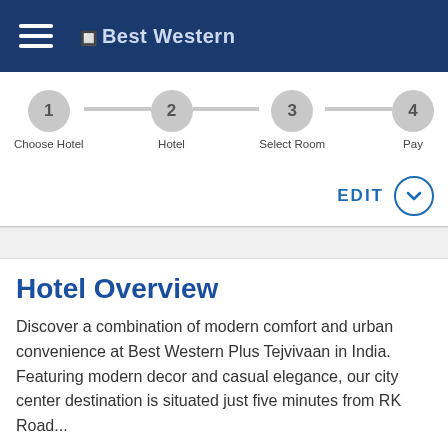Best Western
[Figure (infographic): 4-step booking progress bar: 1 Choose Hotel, 2 Hotel, 3 Select Room, 4 Pay]
EDIT
Hotel Overview
Discover a combination of modern comfort and urban convenience at Best Western Plus Tejvivaan in India. Featuring modern decor and casual elegance, our city center destination is situated just five minutes from RK Road...